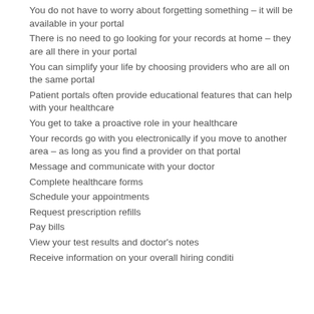You do not have to worry about forgetting something – it will be available in your portal
There is no need to go looking for your records at home – they are all there in your portal
You can simplify your life by choosing providers who are all on the same portal
Patient portals often provide educational features that can help with your healthcare
You get to take a proactive role in your healthcare
Your records go with you electronically if you move to another area – as long as you find a provider on that portal
Message and communicate with your doctor
Complete healthcare forms
Schedule your appointments
Request prescription refills
Pay bills
View your test results and doctor's notes
Receive information on your overall hiring conditions